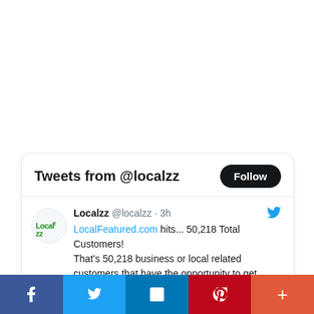Tweets from @localzz
Localzz @localzz · 3h
LocalFeatured.com hits... 50,218 Total Customers!
That's 50,218 business or local related customers that have the opportunity to get found digitally on the LocalFeatured.com
[Figure (screenshot): Social media share bar with Facebook, Twitter, LinkedIn, Pinterest, and More buttons]